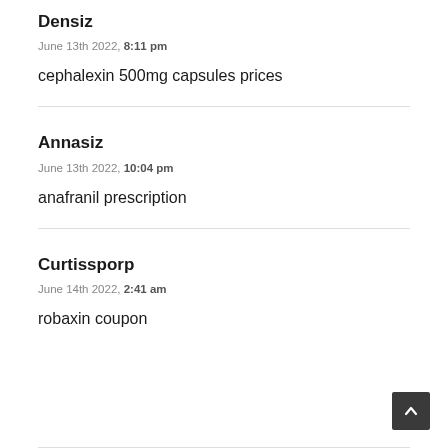Densiz
June 13th 2022, 8:11 pm
cephalexin 500mg capsules prices
Annasiz
June 13th 2022, 10:04 pm
anafranil prescription
Curtissporp
June 14th 2022, 2:41 am
robaxin coupon